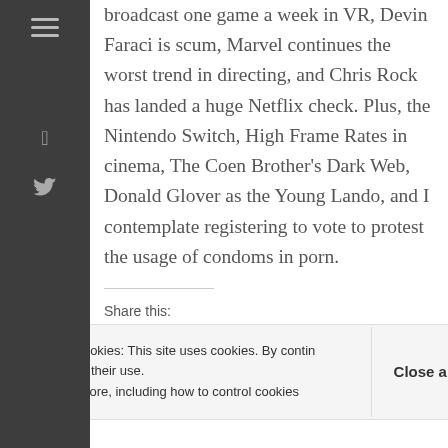broadcast one game a week in VR, Devin Faraci is scum, Marvel continues the worst trend in directing, and Chris Rock has landed a huge Netflix check. Plus, the Nintendo Switch, High Frame Rates in cinema, The Coen Brother's Dark Web, Donald Glover as the Young Lando, and I contemplate registering to vote to protest the usage of condoms in porn.
Share this:
Twitter | Facebook | Reddit | Tumblr | Pocket
Privacy & Cookies: This site uses cookies. By continuing to use this website, you agree to their use. To find out more, including how to control cookies, see here: Close and accept